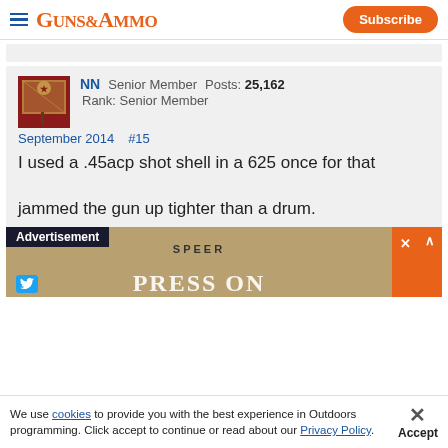GUNS&AMMO | Subscribe
[Figure (logo): Guns & Ammo website header with hamburger menu, orange serif logo, and Subscribe button]
NN  Senior Member   Posts: 25,162
Rank: Senior Member
September 2014   #15
I used a .45acp shot shell in a 625 once for that

jammed the gun up tighter than a drum.
[Figure (screenshot): Advertisement overlay showing SPEER brand ad with PRESS ON text]
We use cookies to provide you with the best experience in Outdoors programming. Click accept to continue or read about our Privacy Policy.